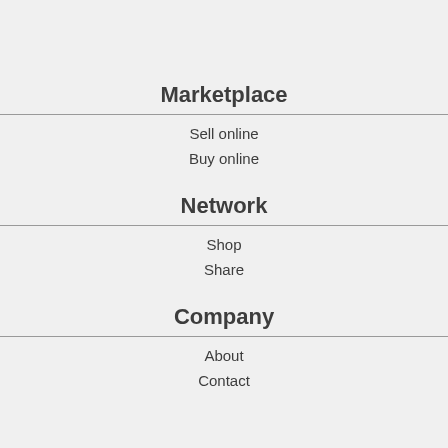Marketplace
Sell online
Buy online
Network
Shop
Share
Company
About
Contact